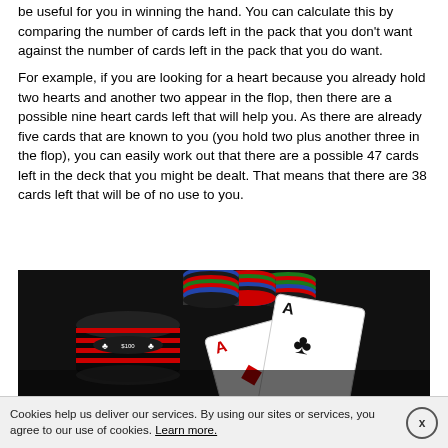be useful for you in winning the hand. You can calculate this by comparing the number of cards left in the pack that you don't want against the number of cards left in the pack that you do want.
For example, if you are looking for a heart because you already hold two hearts and another two appear in the flop, then there are a possible nine heart cards left that will help you. As there are already five cards that are known to you (you hold two plus another three in the flop), you can easily work out that there are a possible 47 cards left in the deck that you might be dealt. That means that there are 38 cards left that will be of no use to you.
[Figure (photo): Dark background photo of poker chips stacked in multiple colors (black, red, blue, green) and two playing cards showing Aces (Ace of diamonds and Ace of clubs) fanned out on a reflective surface.]
Cookies help us deliver our services. By using our sites or services, you agree to our use of cookies. Learn more.